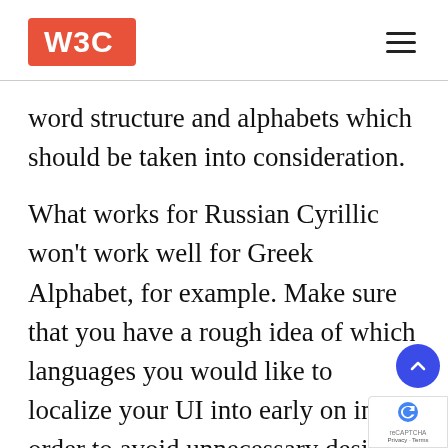W3C [logo] | hamburger menu
word structure and alphabets which should be taken into consideration.
What works for Russian Cyrillic won't work well for Greek Alphabet, for example. Make sure that you have a rough idea of which languages you would like to localize your UI into early on in order to avoid unnecessary design changes and retroactive modifications